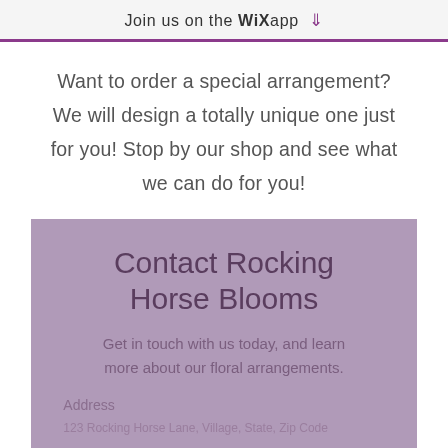Join us on the WiX app ⬇
Want to order a special arrangement? We will design a totally unique one just for you! Stop by our shop and see what we can do for you!
Contact Rocking Horse Blooms
Get in touch with us today, and learn more about our floral arrangements.
Address